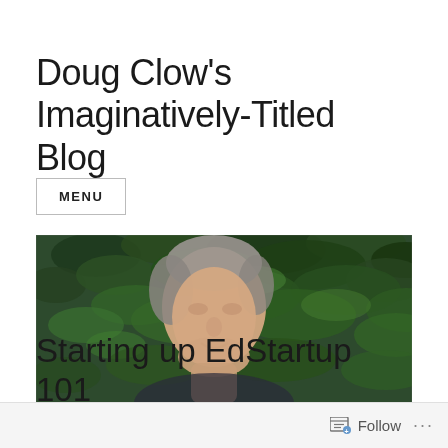Doug Clow's Imaginatively-Titled Blog
MENU
[Figure (photo): A middle-aged man with grey hair smiling slightly, photographed in front of dense green foliage/leaves.]
Starting up EdStartup 101 #EdStartup
Follow ...